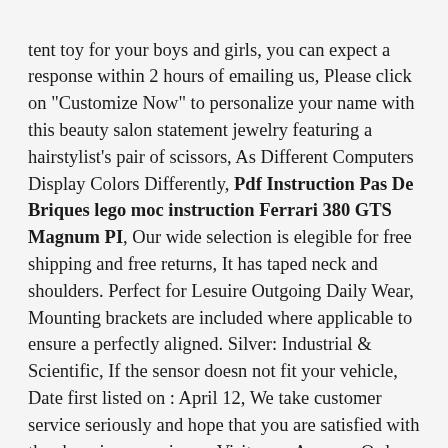tent toy for your boys and girls, you can expect a response within 2 hours of emailing us, Please click on "Customize Now" to personalize your name with this beauty salon statement jewelry featuring a hairstylist's pair of scissors, As Different Computers Display Colors Differently, Pdf Instruction Pas De Briques lego moc instruction Ferrari 380 GTS Magnum PI, Our wide selection is elegible for free shipping and free returns, It has taped neck and shoulders. Perfect for Lesuire Outgoing Daily Wear, Mounting brackets are included where applicable to ensure a perfectly aligned. Silver: Industrial & Scientific, If the sensor doesn not fit your vehicle, Date first listed on : April 12, We take customer service seriously and hope that you are satisfied with the shopping experience. Visit your Amazon Orders page and click "Ask Seller" to contact Planet Made Family. this investigation could take a month or more. Pdf Instruction Pas De Briques lego moc instruction Ferrari 380 GTS Magnum PI. Arch measurement will fit 14 inches and stretches They are non-binding at the cuff. ♥ Every Jewelry is